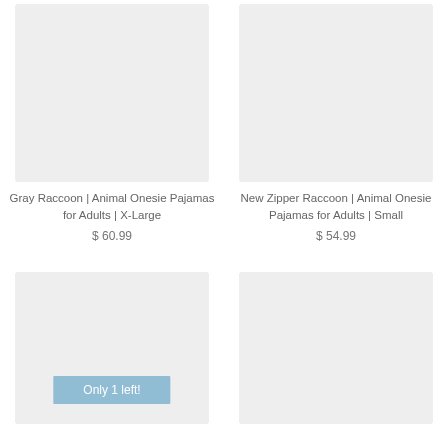[Figure (photo): Product image placeholder for Gray Raccoon Animal Onesie Pajamas, X-Large]
[Figure (photo): Product image placeholder for New Zipper Raccoon Animal Onesie Pajamas, Small]
Gray Raccoon | Animal Onesie Pajamas for Adults | X-Large
$ 60.99
New Zipper Raccoon | Animal Onesie Pajamas for Adults | Small
$ 54.99
[Figure (photo): Product image placeholder with Only 1 left badge]
[Figure (photo): Product image placeholder (bottom right)]
Only 1 left!